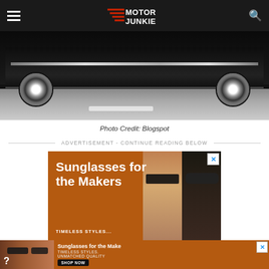Motor Junkie
[Figure (photo): Black and white photograph of the underside/wheels of a classic car parked on pavement]
Photo Credit: Blogspot
ADVERTISEMENT - CONTINUE READING BELOW
[Figure (infographic): Advertisement banner with orange background showing two women wearing sunglasses with text 'Sunglasses for the Makers' and 'TIMELESS STYLES...']
Advertisement
[Figure (infographic): Sticky bottom advertisement for sunglasses with orange background showing women wearing sunglasses, text 'Sunglasses for the Make', 'TIMELESS STYLES. UNMATCHED QUALITY' and 'SHOP NOW' button]